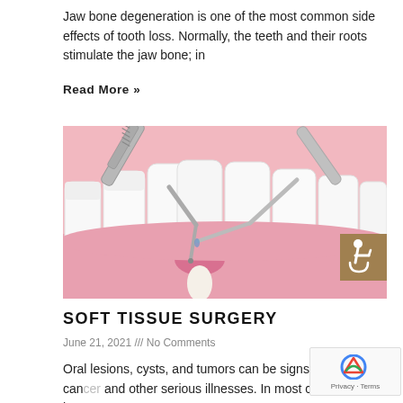Jaw bone degeneration is one of the most common side effects of tooth loss. Normally, the teeth and their roots stimulate the jaw bone; in
Read More »
[Figure (illustration): 3D medical illustration of dental tools (scaler and probe) working on teeth and gum tissue, showing gum recession and a dental procedure on lower front teeth with pink gum tissue and white teeth]
SOFT TISSUE SURGERY
June 21, 2021 /// No Comments
Oral lesions, cysts, and tumors can be signs of cancer and other serious illnesses. In most cases, however, they are benign conditions that need care.